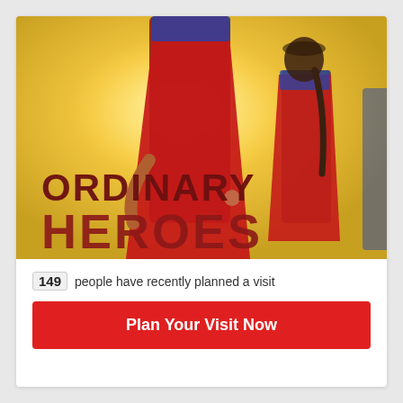[Figure (photo): Photo of a parent and child dressed in superhero costumes with red capes, standing against a bright golden/yellow backlit background. Text overlay reads 'ORDINARY HEROES' with 'ORDINARY' visible in dark brownish-red and 'HEROES' partially cut off at the bottom.]
149 people have recently planned a visit
Plan Your Visit Now